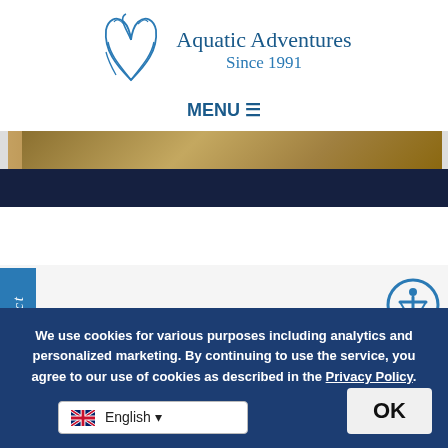[Figure (logo): Aquatic Adventures whale tail logo with text 'Aquatic Adventures Since 1991']
MENU ≡
[Figure (photo): Hero banner showing sandy/stone textured background with dark navy navigation bar]
The World Clock - Time Zones
Sync your watches before your trip, find out the exact time in the Dominican Republic. Keep in mind, the D...
We use cookies for various purposes including analytics and personalized marketing. By continuing to use the service, you agree to our use of cookies as described in the Privacy Policy.
OK
English